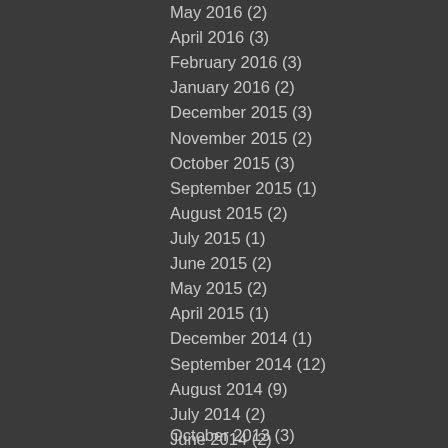May 2016 (2)
April 2016 (3)
February 2016 (3)
January 2016 (2)
December 2015 (3)
November 2015 (2)
October 2015 (3)
September 2015 (1)
August 2015 (2)
July 2015 (1)
June 2015 (2)
May 2015 (2)
April 2015 (1)
December 2014 (1)
September 2014 (12)
August 2014 (9)
July 2014 (2)
June 2014 (2)
April 2014 (1)
March 2014 (2)
February 2014 (4)
January 2014 (2)
October 2013 (3)